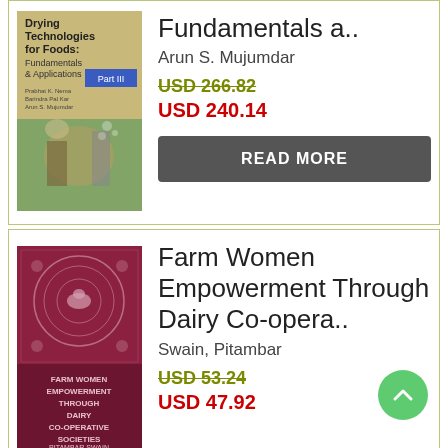[Figure (illustration): Book cover for 'Drying Technologies for Foods: Fundamentals & Applications, Part III' by Prabhat K. Nema, Barindra Pal Kar, Arun S. Mujumdar]
Fundamentals a..
Arun S. Mujumdar
USD 266.82
USD 240.14
READ MORE
[Figure (illustration): Book cover for 'Farm Women Empowerment Through Dairy Co-operative Societies' by Pitambar Swain]
Farm Women Empowerment Through Dairy Co-opera..
Swain, Pitambar
USD 53.24
USD 47.92